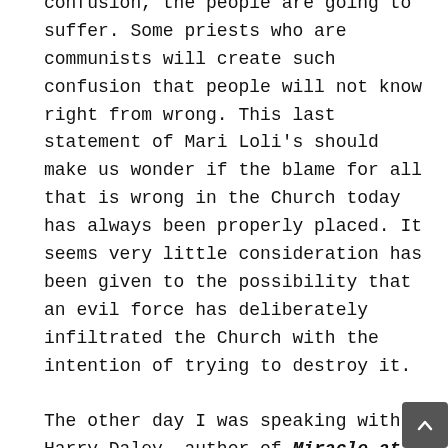confusion, the people are going to suffer. Some priests who are communists will create such confusion that people will not know right from wrong. This last statement of Mari Loli's should make us wonder if the blame for all that is wrong in the Church today has always been properly placed. It seems very little consideration has been given to the possibility that an evil force has deliberately infiltrated the Church with the intention of trying to destroy it.

The other day I was speaking with Harry Daley, author of Miracle at Garabandal. Harry was a good friend of the late Father Walter Ciszek, S.J., who spent 15 years in Soviet prisons and Siberian labour camps, and lived to tell about it in his book With God in Russia (Ignatius Press). Harry visited Fr. Ciszek (a